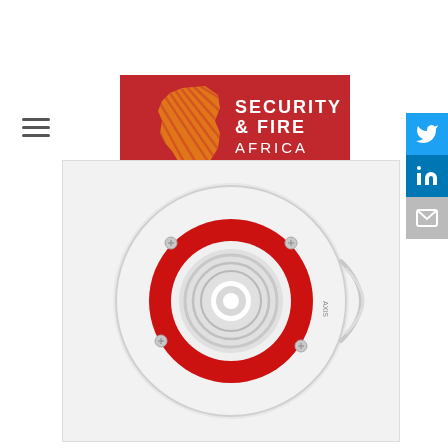[Figure (logo): Security & Fire Africa logo — red background with orange hatched Africa continent silhouette and white text 'SECURITY & FIRE AFRICA']
[Figure (photo): Fire alarm sounder/beacon device — circular white unit with a red LED ring and central speaker cone, shown front-on against white background]
[Figure (other): Social sharing sidebar with Twitter (blue), LinkedIn (blue), and email (grey) icon buttons]